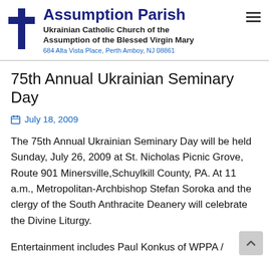Assumption Parish — Ukrainian Catholic Church of the Assumption of the Blessed Virgin Mary — 684 Alta Vista Place, Perth Amboy, NJ 08861
75th Annual Ukrainian Seminary Day
July 18, 2009
The 75th Annual Ukrainian Seminary Day will be held Sunday, July 26, 2009 at St. Nicholas Picnic Grove, Route 901 Minersville,Schuylkill County, PA. At 11 a.m., Metropolitan-Archbishop Stefan Soroka and the clergy of the South Anthracite Deanery will celebrate the Divine Liturgy.
Entertainment includes Paul Konkus of WPPA / 1360 uation his Polka Broadcast from 11...